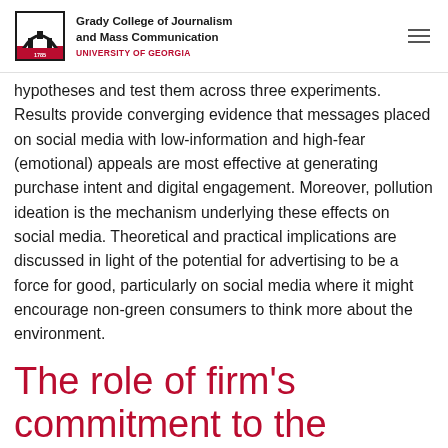Grady College of Journalism and Mass Communication UNIVERSITY OF GEORGIA
hypotheses and test them across three experiments. Results provide converging evidence that messages placed on social media with low-information and high-fear (emotional) appeals are most effective at generating purchase intent and digital engagement. Moreover, pollution ideation is the mechanism underlying these effects on social media. Theoretical and practical implications are discussed in light of the potential for advertising to be a force for good, particularly on social media where it might encourage non-green consumers to think more about the environment.
The role of firm's commitment to the